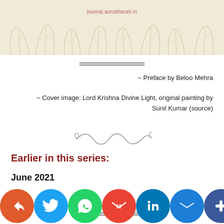[Figure (illustration): Decorative banner with leaf/foliage pattern on cream background and website URL 'journal.aurobharati.in' in red]
~ Preface by Beloo Mehra
~ Cover image: Lord Krishna Divine Light, original painting by Sunil Kumar (source)
[Figure (illustration): Decorative ornamental swirl divider]
Earlier in this series:
June 2021
[Figure (infographic): Social sharing icons row: share/reply, Twitter, WhatsApp, Gmail, LinkedIn, Mail, Plus/More]